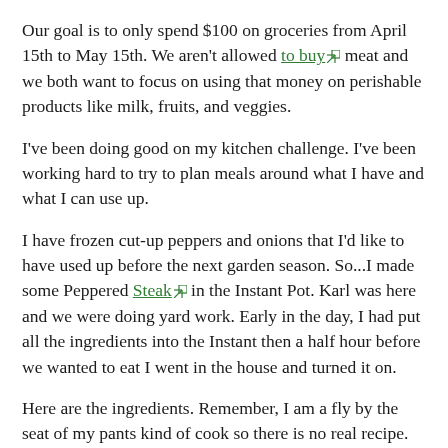Our goal is to only spend $100 on groceries from April 15th to May 15th. We aren't allowed to buy [external link] meat and we both want to focus on using that money on perishable products like milk, fruits, and veggies.
I've been doing good on my kitchen challenge. I've been working hard to try to plan meals around what I have and what I can use up.
I have frozen cut-up peppers and onions that I'd like to have used up before the next garden season. So...I made some Peppered Steak [external link] in the Instant Pot. Karl was here and we were doing yard work. Early in the day, I had put all the ingredients into the Instant then a half hour before we wanted to eat I went in the house and turned it on.
Here are the ingredients. Remember, I am a fly by the seat of my pants kind of cook so there is no real recipe.